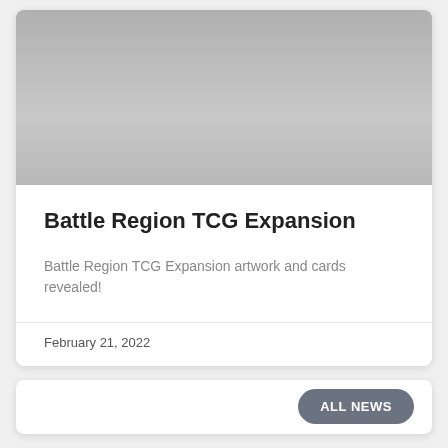[Figure (photo): Gray placeholder image at top of card]
Battle Region TCG Expansion
Battle Region TCG Expansion artwork and cards revealed!
February 21, 2022
[Figure (other): Second card with ALL NEWS button]